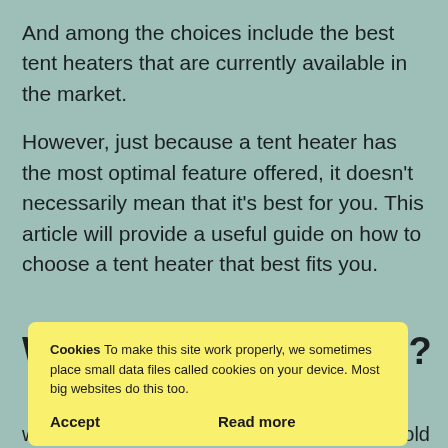And among the choices include the best tent heaters that are currently available in the market.
However, just because a tent heater has the most optimal feature offered, it doesn't necessarily mean that it's best for you. This article will provide a useful guide on how to choose a tent heater that best fits you.
W... aters?
Cookies To make this site work properly, we sometimes place small data files called cookies on your device. Most big websites do this too.
the tent warm in case of chilly nights and extreme cold